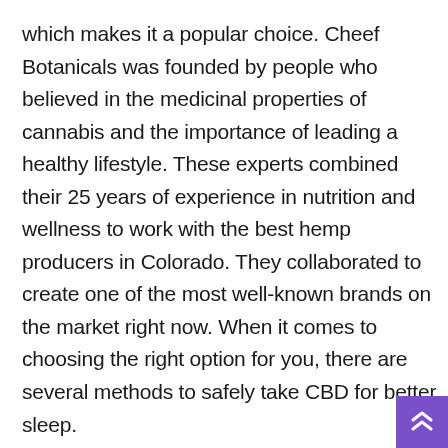which makes it a popular choice. Cheef Botanicals was founded by people who believed in the medicinal properties of cannabis and the importance of leading a healthy lifestyle. These experts combined their 25 years of experience in nutrition and wellness to work with the best hemp producers in Colorado. They collaborated to create one of the most well-known brands on the market right now. When it comes to choosing the right option for you, there are several methods to safely take CBD for better sleep.

They are flavored as organic berries, and their taste is unmatched. These are not specifically for sleep, but they are likely to help you relax. Their ingredients are vegan-friendly, and you won't find any artificial colors, high fructose corn syrup, or artificial eff...